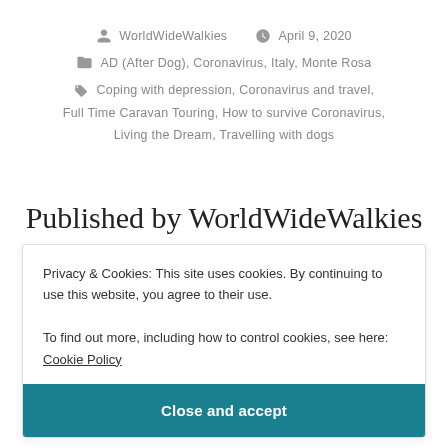WorldWideWalkies   April 9, 2020
AD (After Dog), Coronavirus, Italy, Monte Rosa
Coping with depression, Coronavirus and travel, Full Time Caravan Touring, How to survive Coronavirus, Living the Dream, Travelling with dogs
Published by WorldWideWalkies
AD (After Dogs) - We retired early to tour Europe in a
Privacy & Cookies: This site uses cookies. By continuing to use this website, you agree to their use.
To find out more, including how to control cookies, see here: Cookie Policy
Close and accept